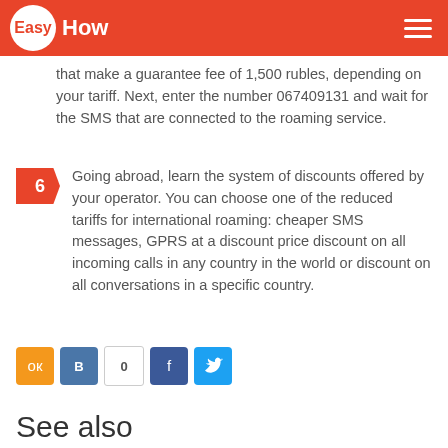EasyHow
that make a guarantee fee of 1,500 rubles, depending on your tariff. Next, enter the number 067409131 and wait for the SMS that are connected to the roaming service.
6 Going abroad, learn the system of discounts offered by your operator. You can choose one of the reduced tariffs for international roaming: cheaper SMS messages, GPRS at a discount price discount on all incoming calls in any country in the world or discount on all conversations in a specific country.
See also